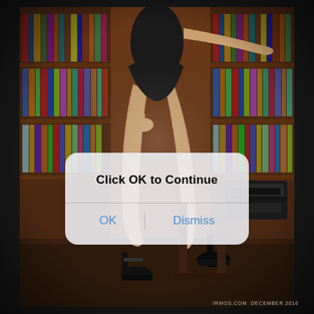[Figure (photo): Background photo of a woman in a short black dress posing in a library/study setting with dark wood bookshelves full of books and a typewriter visible. Only the lower body and one hand are visible. The woman wears black high heels with ankle strap.]
Click OK to Continue
OK
Dismiss
IRMOS.COM DECEMBER 2016